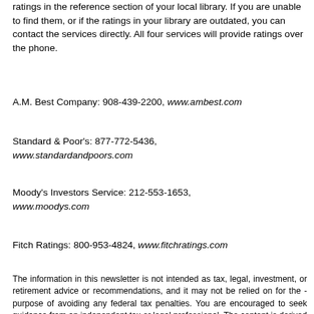ratings in the reference section of your local library. If you are unable to find them, or if the ratings in your library are outdated, you can contact the services directly. All four services will provide ratings over the phone.
A.M. Best Company: 908-439-2200, www.ambest.com
Standard & Poor's: 877-772-5436, www.standardandpoors.com
Moody's Investors Service: 212-553-1653, www.moodys.com
Fitch Ratings: 800-953-4824, www.fitchratings.com
The information in this newsletter is not intended as tax, legal, investment, or retirement advice or recommendations, and it may not be relied on for the purpose of avoiding any federal tax penalties. You are encouraged to seek guidance from an independent tax or legal professional. The content is derived from sources believed to be accurate. Neither the information presented nor any opinion expressed constitutes a solicitation for the -